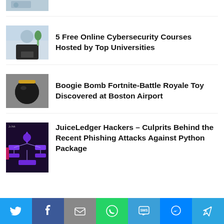[Figure (photo): Partial top of a person at a computer - cropped]
[Figure (photo): Person sitting at a computer, cybersecurity course thumbnail]
5 Free Online Cybersecurity Courses Hosted by Top Universities
[Figure (photo): Boogie Bomb toy resembling a grenade with a gold ring]
Boogie Bomb Fortnite-Battle Royale Toy Discovered at Boston Airport
[Figure (infographic): Purple flowchart/diagram on dark background - JuiceLedger hackers]
JuiceLedger Hackers – Culprits Behind the Recent Phishing Attacks Against Python Package
Twitter, Facebook, Email, WhatsApp, SMS, Messenger, Telegram share buttons